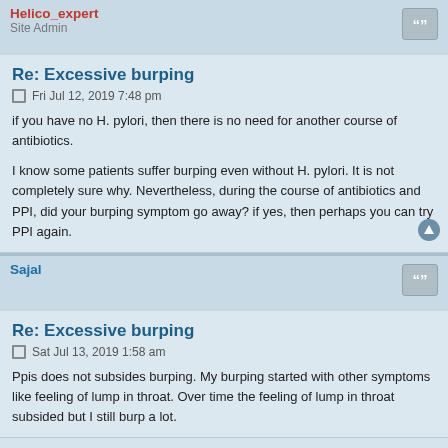Helico_expert
Site Admin
Re: Excessive burping
Fri Jul 12, 2019 7:48 pm
if you have no H. pylori, then there is no need for another course of antibiotics.
I know some patients suffer burping even without H. pylori. It is not completely sure why. Nevertheless, during the course of antibiotics and PPI, did your burping symptom go away? if yes, then perhaps you can try PPI again.
Sajal
Re: Excessive burping
Sat Jul 13, 2019 1:58 am
Ppis does not subsides burping. My burping started with other symptoms like feeling of lump in throat. Over time the feeling of lump in throat subsided but I still burp a lot.